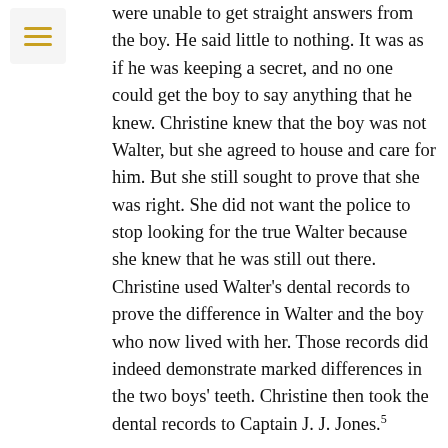were unable to get straight answers from the boy. He said little to nothing. It was as if he was keeping a secret, and no one could get the boy to say anything that he knew. Christine knew that the boy was not Walter, but she agreed to house and care for him. But she still sought to prove that she was right. She did not want the police to stop looking for the true Walter because she knew that he was still out there. Christine used Walter's dental records to prove the difference in Walter and the boy who now lived with her. Those records did indeed demonstrate marked differences in the two boys' teeth. Christine then took the dental records to Captain J. J. Jones.5
But the dental records proved to be no help. Not only did Jones not believe Christine even with the records, he concluded that Christine was only trying to humiliate the Los Angeles Police Department. Captain Jones would not stand for